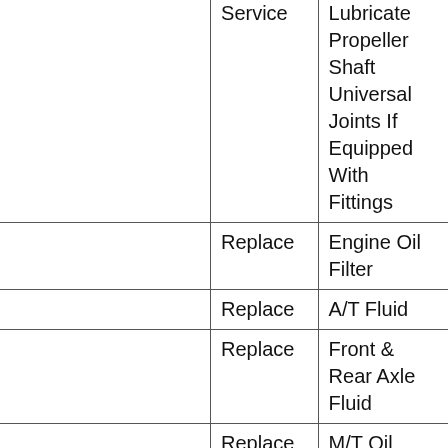|  | Service | Description |
| --- | --- | --- |
|  | Service | Lubricate Propeller Shaft Universal Joints If Equipped With Fittings |
|  | Replace | Engine Oil Filter |
|  | Replace | A/T Fluid |
|  | Replace | Front & Rear Axle Fluid |
|  | Replace | M/T Oil |